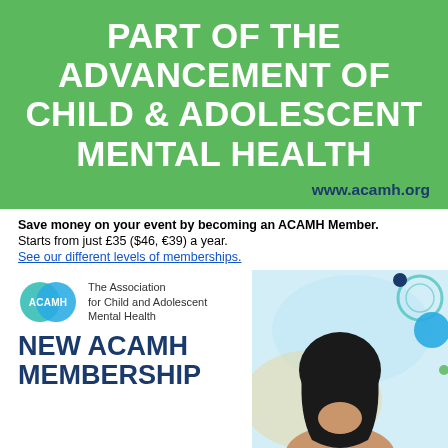PART OF THE ADVANCEMENT OF CHILD & ADOLESCENT MENTAL HEALTH
www.acamh.org
Save money on your event by becoming an ACAMH Member.
Starts from just £35 ($46, €39) a year.
See our different levels of memberships.
[Figure (logo): ACAMH logo with overlapping cyan and teal circles with ACAMH text, alongside 'The Association for Child and Adolescent Mental Health']
NEW ACAMH MEMBERSHIP
[Figure (photo): Young woman wearing a black headscarf, eyes closed, with decorative blue circles in the background]